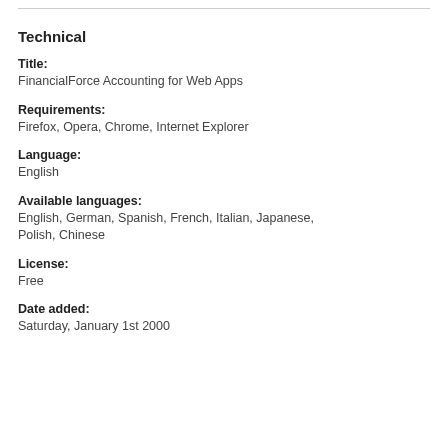Technical
Title:
FinancialForce Accounting for Web Apps
Requirements:
Firefox,  Opera,  Chrome,  Internet Explorer
Language:
English
Available languages:
English,  German,  Spanish,  French,  Italian,  Japanese,  Polish,  Chinese
License:
Free
Date added:
Saturday, January 1st 2000